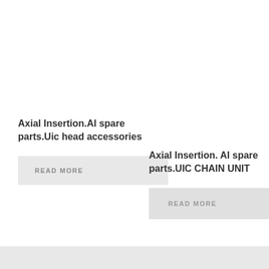Axial Insertion.AI spare parts.Uic head accessories
READ MORE
Axial Insertion. AI spare parts.UIC CHAIN UNIT
READ MORE